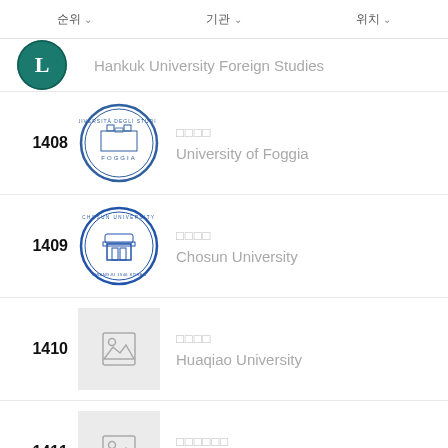순위  |  기관  |  위치
Hankuk University Foreign Studies
1408 | 포자대학교 | University of Foggia
1409 | 조선대학교 | Chosun University
1410 | 화교대학 | Huaqiao University
1411 | 후난사범대학교 | Hunan Normal University